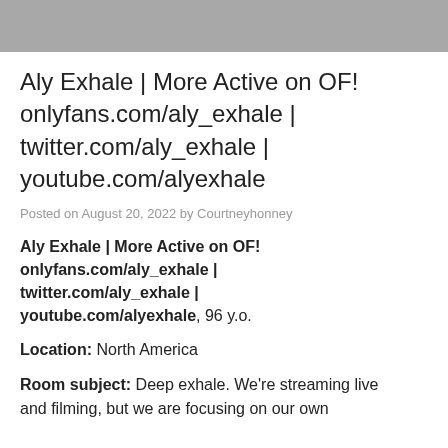[Figure (photo): Gray banner image at top of page]
Aly Exhale | More Active on OF! onlyfans.com/aly_exhale | twitter.com/aly_exhale | youtube.com/alyexhale
Posted on August 20, 2022 by Courtneyhonney
Aly Exhale | More Active on OF! onlyfans.com/aly_exhale | twitter.com/aly_exhale | youtube.com/alyexhale, 96 y.o.
Location: North America
Room subject: Deep exhale. We're streaming live and filming, but we are focusing on our own